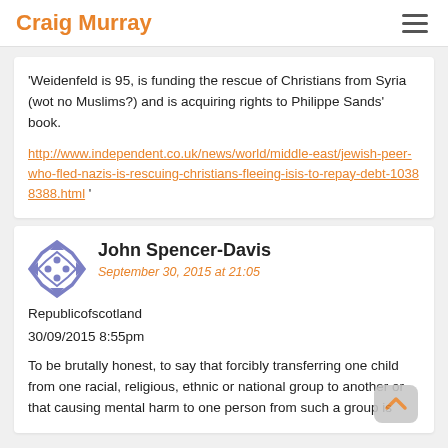Craig Murray
'Weidenfeld is 95, is funding the rescue of Christians from Syria (wot no Muslims?) and is acquiring rights to Philippe Sands' book.

http://www.independent.co.uk/news/world/middle-east/jewish-peer-who-fled-nazis-is-rescuing-christians-fleeing-isis-to-repay-debt-10388388.html '
John Spencer-Davis
September 30, 2015 at 21:05
Republicofscotland
30/09/2015 8:55pm

To be brutally honest, to say that forcibly transferring one child from one racial, religious, ethnic or national group to another or that causing mental harm to one person from such a group is